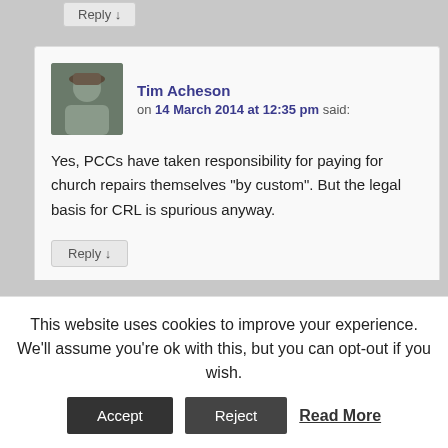Reply ↓
Tim Acheson on 14 March 2014 at 12:35 pm said:
Yes, PCCs have taken responsibility for paying for church repairs themselves "by custom". But the legal basis for CRL is spurious anyway.
Reply ↓
Pingback: Religion and law round-up – 5th January | Law & Religion UK
This website uses cookies to improve your experience. We'll assume you're ok with this, but you can opt-out if you wish.
Accept  Reject  Read More